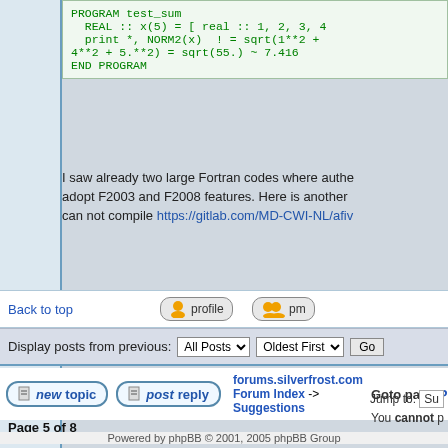[Figure (screenshot): Code block showing Fortran program test_sum with REAL array and NORM2 function]
I saw already two large Fortran codes where authors adopt F2003 and F2008 features. Here is another can not compile https://gitlab.com/MD-CWI-NL/afiv...
Back to top
profile  pm
Display posts from previous: All Posts  Oldest First  Go
newtopic  postreply  forums.silverfrost.com Forum Index -> Suggestions  Goto page Previous ...
Page 5 of 8
Jump to: Su
You cannot p
You cannot
You cannot
You cannot de
You cann
Powered by phpBB © 2001, 2005 phpBB Group